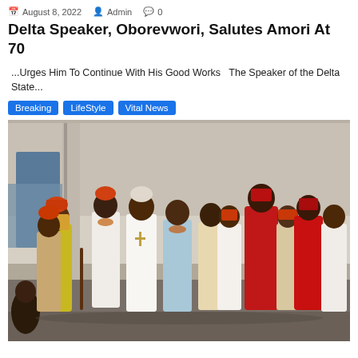August 8, 2022  Admin  0
Delta Speaker, Oborevwori, Salutes Amori At 70
...Urges Him To Continue With His Good Works   The Speaker of the Delta State...
Breaking
LifeStyle
Vital News
[Figure (photo): Group photo of men in traditional Nigerian attire and ceremonial robes, standing in front of a building. They wear various colored garments including white, red, yellow/gold, and coral beads.]